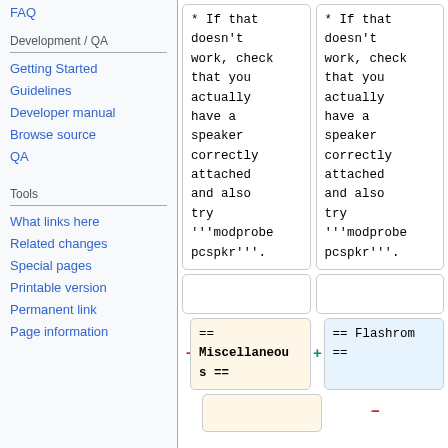FAQ
Development / QA
Getting Started
Guidelines
Developer manual
Browse source
QA
Tools
What links here
Related changes
Special pages
Printable version
Permanent link
Page information
* If that doesn't work, check that you actually have a speaker correctly attached and also try '''modprobe pcspkr'''.
* If that doesn't work, check that you actually have a speaker correctly attached and also try '''modprobe pcspkr'''.
== Miscellaneous ==
== Flashrom ==